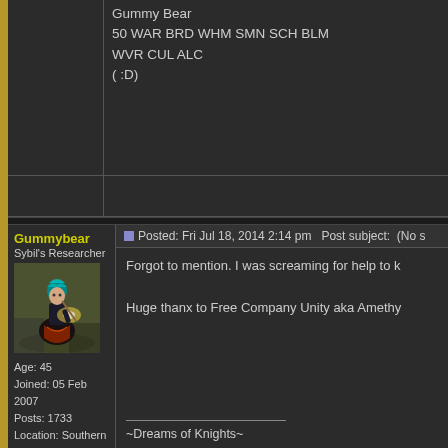Gummy Bear
50 WAR BRD WHM SMN SCH BLM
WVR CUL ALC
( :D)
Gummybear
Sybil's Researcher
Age: 45
Joined: 05 Feb 2007
Posts: 1733
Location: Southern California, USA
Main Job: 75 BRD
Posted: Fri Jul 18, 2014 2:14 pm  Post subject: (No s
Forgot to mention. I was screaming for help to k
Huge thanx to Free Company Unity aka Amethy
~Dreams of Knights~
Gummy Bear
50 WAR BRD WHM SMN SCH BLM
WVR CUL ALC
( :D)